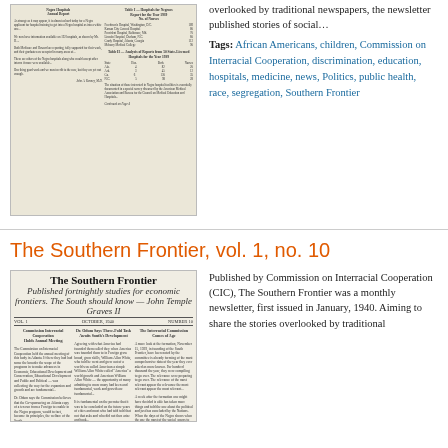[Figure (photo): Scanned historical newspaper document page with columns of text and small tables, aged paper appearance]
overlooked by traditional newspapers, the newsletter published stories of social…
Tags: African Americans, children, Commission on Interracial Cooperation, discrimination, education, hospitals, medicine, news, Politics, public health, race, segregation, Southern Frontier
The Southern Frontier, vol. 1, no. 10
[Figure (photo): Scanned front page of The Southern Frontier newsletter, showing masthead and multiple columns of text]
Published by Commission on Interracial Cooperation (CIC), The Southern Frontier was a monthly newsletter, first issued in January, 1940. Aiming to share the stories overlooked by traditional